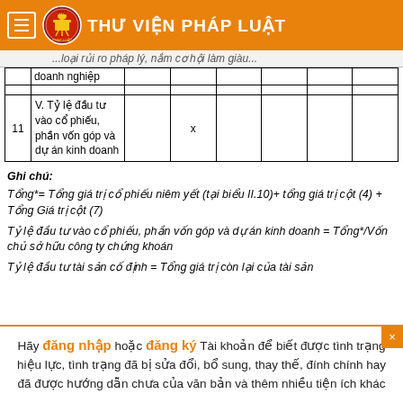THƯ VIỆN PHÁP LUẬT
...loại rủi ro pháp lý, nắm cơ hội làm giàu...
|  |  | doanh nghiệp |  |  |  |  |  |
| --- | --- | --- | --- | --- | --- | --- | --- |
|  |  |  |  |  |  |  |  |
| 11 | V. Tỷ lệ đầu tư vào cổ phiếu, phần vốn góp và dự án kinh doanh |  | x |  |  |  |  |
Ghi chú:
Tổng*= Tổng giá trị cổ phiếu niêm yết (tại biểu II.10)+ tổng giá trị cột (4) + Tổng Giá trị cột (7)
Tỷ lệ đầu tư vào cổ phiếu, phần vốn góp và dự án kinh doanh = Tổng*/Vốn chủ sở hữu công ty chứng khoán
Tỷ lệ đầu tư tài sản cố định = Tổng giá trị còn lại của tài sản
Hãy đăng nhập hoặc đăng ký Tài khoản để biết được tình trạng hiệu lực, tình trạng đã bị sửa đổi, bổ sung, thay thế, đính chính hay đã được hướng dẫn chưa của văn bản và thêm nhiều tiện ích khác